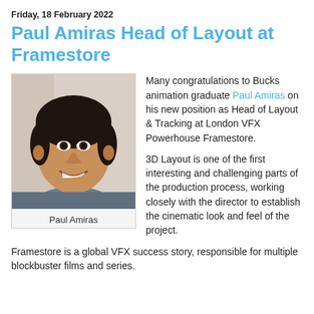Friday, 18 February 2022
Paul Amiras Head of Layout at Framestore
[Figure (photo): Portrait photo of Paul Amiras, a man with dark hair wearing a grey shirt, smiling at the camera.]
Paul Amiras
Many congratulations to Bucks animation graduate Paul Amiras on his new position as Head of Layout & Tracking at London VFX Powerhouse Framestore.
3D Layout is one of the first interesting and challenging parts of the production process, working closely with the director to establish the cinematic look and feel of the project.
Framestore is a global VFX success story, responsible for multiple blockbuster films and series.